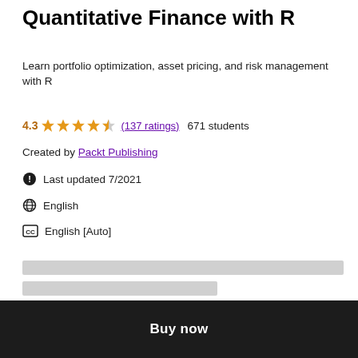Quantitative Finance with R
Learn portfolio optimization, asset pricing, and risk management with R
4.3 ★★★★½ (137 ratings)  671 students
Created by Packt Publishing
Last updated 7/2021
English
English [Auto]
[Figure (other): Gray placeholder content bars]
Buy now